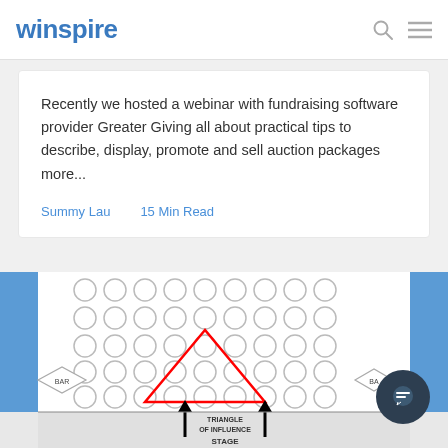winspire
Recently we hosted a webinar with fundraising software provider Greater Giving all about practical tips to describe, display, promote and sell auction packages more...
Summy Lau    15 Min Read
[Figure (schematic): Venue seating diagram showing rows of circular seats arranged in a grid, with a red triangle overlay labeled 'Triangle of Influence', and a 'Stage' label below with arrows. Blue columns on left and right. BAR labels in diamond shapes on lower sides.]